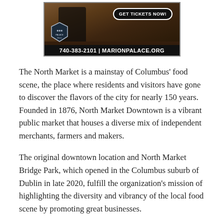[Figure (advertisement): Advertisement for Marion Palace Theatre showing a person in dark clothing, a 'GET TICKETS NOW!' button, a logo badge, and the contact info '740-383-2101 | MARIONPALACE.ORG' on a dark wooden background.]
The North Market is a mainstay of Columbus' food scene, the place where residents and visitors have gone to discover the flavors of the city for nearly 150 years. Founded in 1876, North Market Downtown is a vibrant public market that houses a diverse mix of independent merchants, farmers and makers.
The original downtown location and North Market Bridge Park, which opened in the Columbus suburb of Dublin in late 2020, fulfill the organization's mission of highlighting the diversity and vibrancy of the local food scene by promoting great businesses.
“At both markets, guests can eat, drink, shop and enjoy the best